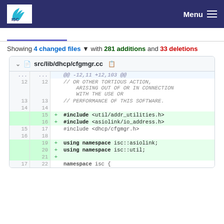ISC | Menu
Showing 4 changed files with 281 additions and 33 deletions
src/lib/dhcp/cfgmgr.cc
| old | new | sign | code |
| --- | --- | --- | --- |
| ... | ... |  | @@ -12,11 +12,103 @@ |
| 12 | 12 |  | // OR OTHER TORTIOUS ACTION, ARISING OUT OF OR IN CONNECTION WITH THE USE OR |
| 13 | 13 |  | // PERFORMANCE OF THIS SOFTWARE. |
| 14 | 14 |  |  |
|  | 15 | + | #include <util/addr_utilities.h> |
|  | 16 | + | #include <asiolink/io_address.h> |
| 15 | 17 |  | #include <dhcp/cfgmgr.h> |
| 16 | 18 |  |  |
|  | 19 | + | using namespace isc::asiolink; |
|  | 20 | + | using namespace isc::util; |
|  | 21 | + |  |
| 17 | 22 |  | namespace isc { |